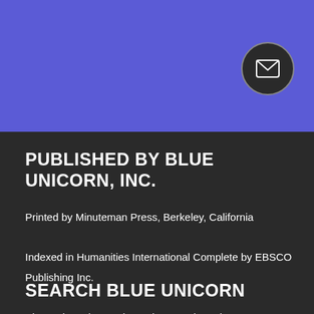[Figure (other): Purple banner section with dark circular email/envelope icon button in the upper right]
PUBLISHED BY BLUE UNICORN, INC.
Printed by Minuteman Press, Berkeley, California

Indexed in Humanities International Complete by EBSCO Publishing Inc.

Blue Unicorn is a registered US Trademark
SEARCH BLUE UNICORN